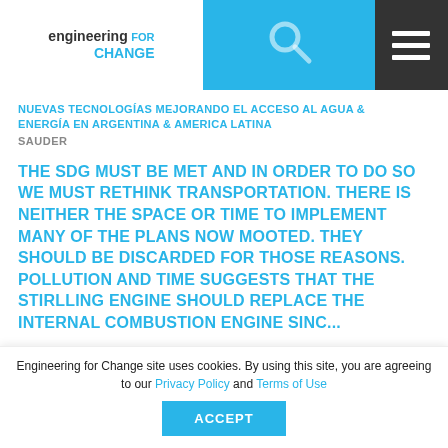engineering for CHANGE
NUEVAS TECNOLOGÍAS MEJORANDO EL ACCESO AL AGUA & ENERGÍA EN ARGENTINA & AMERICA LATINA
SAUDER
THE SDG MUST BE MET AND IN ORDER TO DO SO WE MUST RETHINK TRANSPORTATION. THERE IS NEITHER THE SPACE OR TIME TO IMPLEMENT MANY OF THE PLANS NOW MOOTED. THEY SHOULD BE DISCARDED FOR THOSE REASONS. POLLUTION AND TIME SUGGESTS THAT THE STIRLLING ENGINE SHOULD REPLACE THE INTERNAL COMBUSTION ENGINE SINC...
INTRODUCTION TO T-SUM, THE TRANSITION TO
Engineering for Change site uses cookies. By using this site, you are agreeing to our Privacy Policy and Terms of Use
ACCEPT